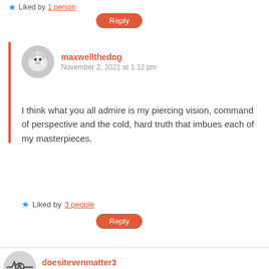★ Liked by 1 person
Reply
maxwellthedog
November 2, 2021 at 1:12 pm
I think what you all admire is my piercing vision, command of perspective and the cold, hard truth that imbues each of my masterpieces.
★ Liked by 3 people
Reply
doesitevenmatter3
November 2, 2021 at 2:38 pm
Coops and I love Bitey Dog!!! 🙂 Leslie is an amazing artist! 🙂
You, Tom...hmm...well, your...uh...your artwork is something! 😉 😛
(((HUGS))) 🙂
HAHAHA*snort*!!! GRRR-EAT post!!! 😀